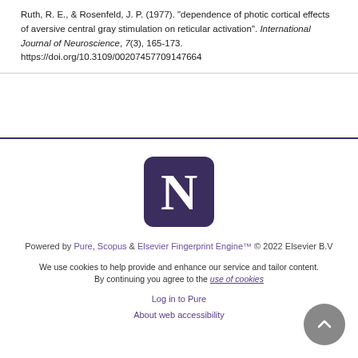Ruth, R. E., & Rosenfeld, J. P. (1977). "dependence of photic cortical effects of aversive central gray stimulation on reticular activation". International Journal of Neuroscience, 7(3), 165-173. https://doi.org/10.3109/00207457709147664
[Figure (logo): Northwestern University logo - purple rounded square with white N letter]
Powered by Pure, Scopus & Elsevier Fingerprint Engine™ © 2022 Elsevier B.V
We use cookies to help provide and enhance our service and tailor content. By continuing you agree to the use of cookies
Log in to Pure
About web accessibility